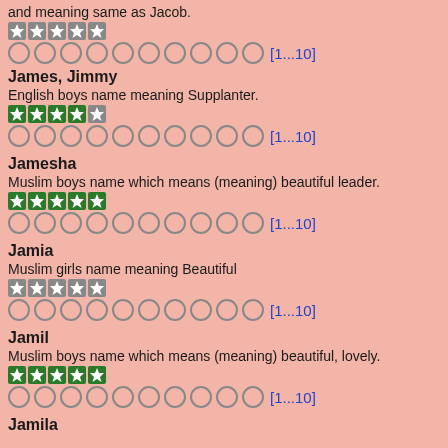and meaning same as Jacob.
James, Jimmy - English boys name meaning Supplanter. [1...10]
Jamesha - Muslim boys name which means (meaning) beautiful leader. [1...10]
Jamia - Muslim girls name meaning Beautiful [1...10]
Jamil - Muslim boys name which means (meaning) beautiful, lovely. [1...10]
Jamila